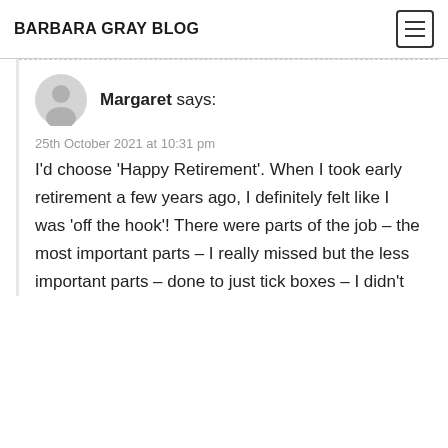BARBARA GRAY BLOG
Margaret says:
25th October 2021 at 10:31 pm
I'd choose 'Happy Retirement'. When I took early retirement a few years ago, I definitely felt like I was 'off the hook'! There were parts of the job – the most important parts – I really missed but the less important parts – done to just tick boxes – I didn't